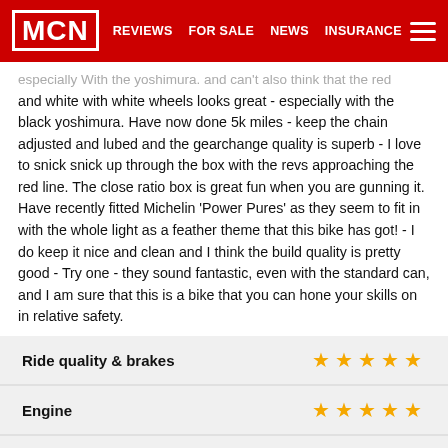MCN | REVIEWS | FOR SALE | NEWS | INSURANCE
especially with the yoshimura. and can't also think that the red and white with white wheels looks great - especially with the black yoshimura. Have now done 5k miles - keep the chain adjusted and lubed and the gearchange quality is superb - I love to snick snick up through the box with the revs approaching the red line. The close ratio box is great fun when you are gunning it. Have recently fitted Michelin 'Power Pures' as they seem to fit in with the whole light as a feather theme that this bike has got! - I do keep it nice and clean and I think the build quality is pretty good - Try one - they sound fantastic, even with the standard can, and I am sure that this is a bike that you can hone your skills on in relative safety.
| Category | Rating |
| --- | --- |
| Ride quality & brakes | 5 stars |
| Engine | 5 stars |
| Reliability & build quality | 4 stars |